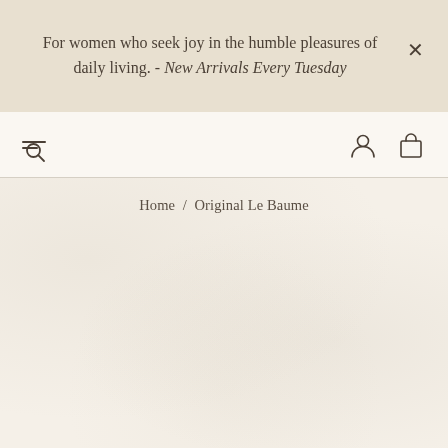For women who seek joy in the humble pleasures of daily living. - New Arrivals Every Tuesday
Home / Original Le Baume